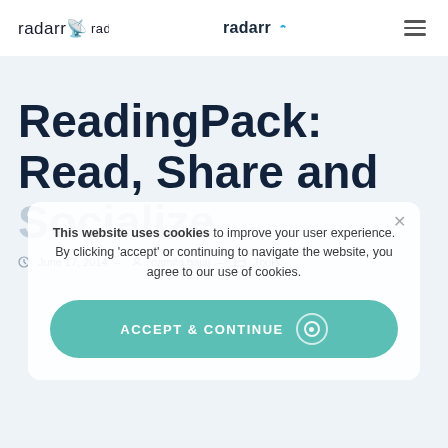radarr (logo) — navigation bar with hamburger menu
ReadingPack: Read, Share and Socialize
June 17, 2014 · namita.bajaj · Tools
This website uses cookies to improve your user experience. By clicking 'accept' or continuing to navigate the website, you agree to our use of cookies.
ACCEPT & CONTINUE